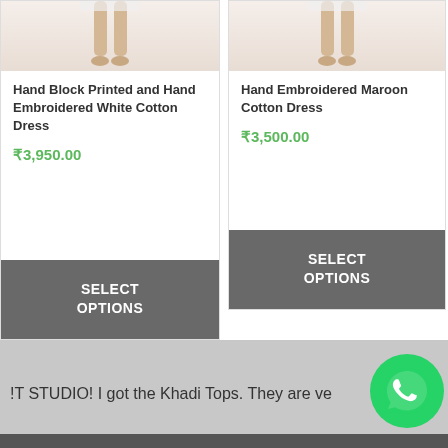[Figure (photo): Partial photo of a woman's legs/lower body wearing a white cotton dress]
Hand Block Printed and Hand Embroidered White Cotton Dress
₹3,950.00
SELECT OPTIONS
[Figure (photo): Partial photo of a woman's legs/lower body wearing a maroon cotton dress]
Hand Embroidered Maroon Cotton Dress
₹3,500.00
SELECT OPTIONS
!T STUDIO! I got the Khadi Tops. They are ve
[Figure (logo): WhatsApp chat button - green circular icon with phone/message symbol]